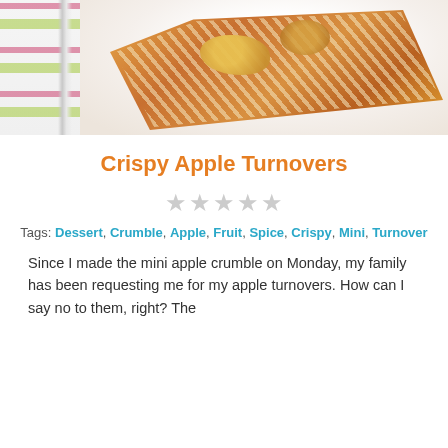[Figure (photo): A crispy apple turnover pastry on a white plate with a fork visible, golden brown flaky pastry with apple filling and almond slices on top, colorful striped background]
Crispy Apple Turnovers
★★★★★ (5 empty stars rating)
Tags: Dessert, Crumble, Apple, Fruit, Spice, Crispy, Mini, Turnover
Since I made the mini apple crumble on Monday, my family has been requesting me for my apple turnovers. How can I say no to them, right? The